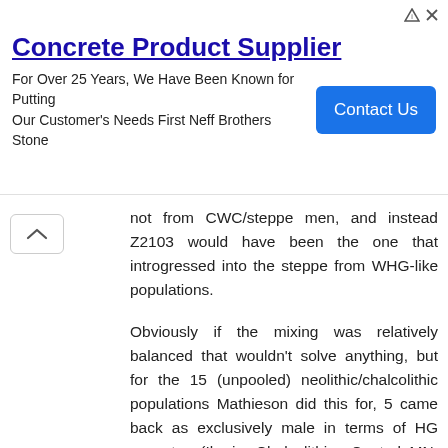[Figure (other): Advertisement banner: Concrete Product Supplier — For Over 25 Years, We Have Been Known for Putting Our Customer's Needs First Neff Brothers Stone. Blue 'Contact Us' button on the right. Small ad icons top right.]
not from CWC/steppe men, and instead Z2103 would have been the one that introgressed into the steppe from WHG-like populations.
Obviously if the mixing was relatively balanced that wouldn't solve anything, but for the 15 (unpooled) neolithic/chalcolithic populations Mathieson did this for, 5 came back as exclusively male in terms of HG ancestry (Iberia Chalcolithic, Central_MN, Balkans Chalcolithic, Varna) and two came back as exclusively or nearly exclusively female in terms of HG ancestry (Tyrpillia and LBK_Austria).
One thing I just noted from Mathieson's figure 3 that may be relevant and is at least interesting is that Iberian MN was more "eastern" (closer to EHG vs WHG) than Central European MN and Globular Amphora, but between the Middle Neolithic and Chalcolithic this shifts back towards